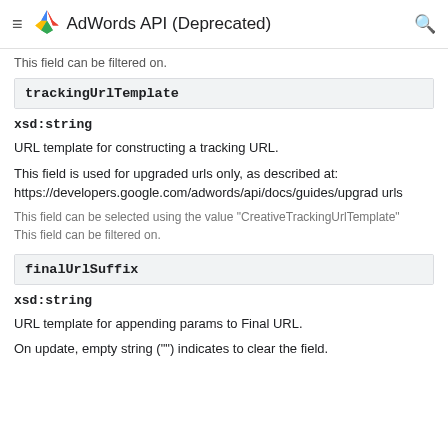AdWords API (Deprecated)
This field can be filtered on.
trackingUrlTemplate
xsd:string
URL template for constructing a tracking URL.
This field is used for upgraded urls only, as described at: https://developers.google.com/adwords/api/docs/guides/upgrad urls
This field can be selected using the value "CreativeTrackingUrlTemplate"
This field can be filtered on.
finalUrlSuffix
xsd:string
URL template for appending params to Final URL.
On update, empty string ("") indicates to clear the field.